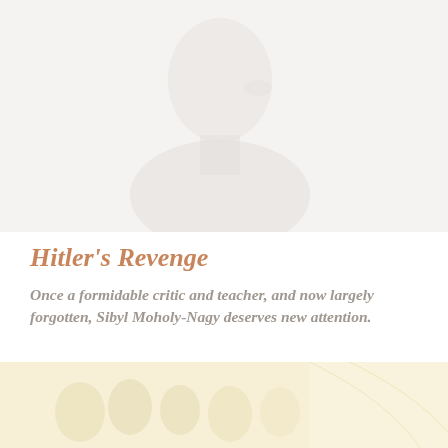[Figure (photo): Faded black and white portrait photograph of a person (Sibyl Moholy-Nagy) in profile, looking to the right, wearing what appears to be a jacket.]
Hitler's Revenge
Once a formidable critic and teacher, and now largely forgotten, Sibyl Moholy-Nagy deserves new attention.
[Figure (photo): Faded warm-toned photograph showing a group of people, possibly students in a classroom or lecture setting.]